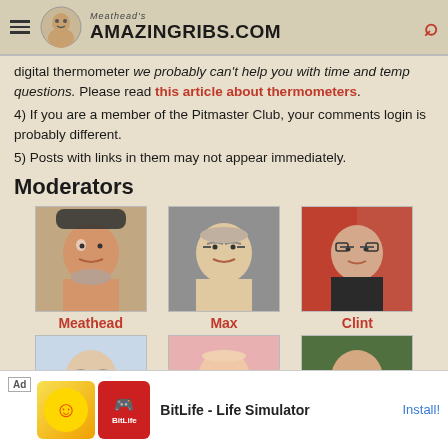Meathead's AmazingRibs.com
digital thermometer we probably can't help you with time and temp questions. Please read this article about thermometers.
4) If you are a member of the Pitmaster Club, your comments login is probably different.
5) Posts with links in them may not appear immediately.
Moderators
[Figure (photo): Photo of moderator Meathead]
Meathead
[Figure (photo): Photo of moderator Max]
Max
[Figure (photo): Photo of moderator Clint]
Clint
[Figure (photo): Photo of moderator Spinaker]
Spinaker
[Figure (photo): Photo of moderator Prof. Blonder]
Prof. Blonder
[Figure (photo): Photo of moderator Jerod]
Jerod